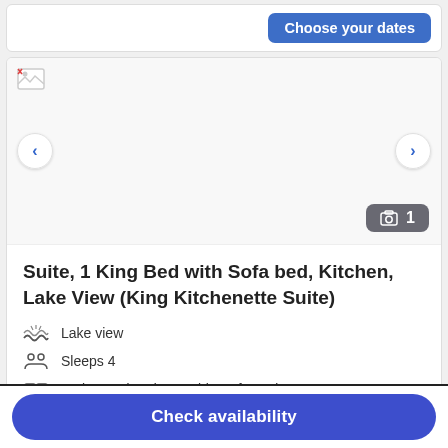Choose your dates
[Figure (screenshot): Hotel room listing image carousel showing a broken/unloaded image placeholder, left and right navigation arrows, and a photo count badge showing '1']
Suite, 1 King Bed with Sofa bed, Kitchen, Lake View (King Kitchenette Suite)
Lake view
Sleeps 4
1 King Bed and 1 Double Sofa Bed
Check availability